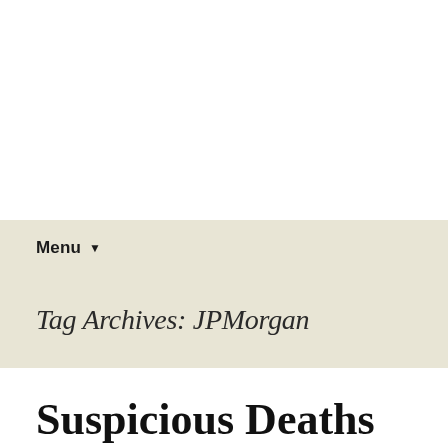Menu
Tag Archives: JPMorgan
Suspicious Deaths of